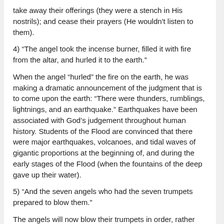take away their offerings (they were a stench in His nostrils); and cease their prayers (He wouldn't listen to them).
4) “The angel took the incense burner, filled it with fire from the altar, and hurled it to the earth.”
When the angel “hurled” the fire on the earth, he was making a dramatic announcement of the judgment that is to come upon the earth: “There were thunders, rumblings, lightnings, and an earthquake.” Earthquakes have been associated with God’s judgement throughout human history. Students of the Flood are convinced that there were major earthquakes, volcanoes, and tidal waves of gigantic proportions at the beginning of, and during the early stages of the Flood (when the fountains of the deep gave up their water).
5) “And the seven angels who had the seven trumpets prepared to blow them.”
The angels will now blow their trumpets in order, rather than in unison. Each time an angel blows his trumpet, something dramatic and shocking will take place.